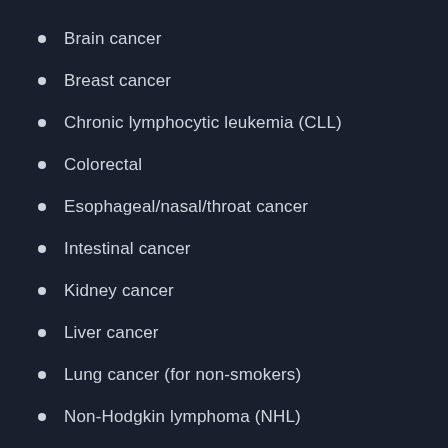Brain cancer
Breast cancer
Chronic lymphocytic leukemia (CLL)
Colorectal
Esophageal/nasal/throat cancer
Intestinal cancer
Kidney cancer
Liver cancer
Lung cancer (for non-smokers)
Non-Hodgkin lymphoma (NHL)
Ovarian cancer